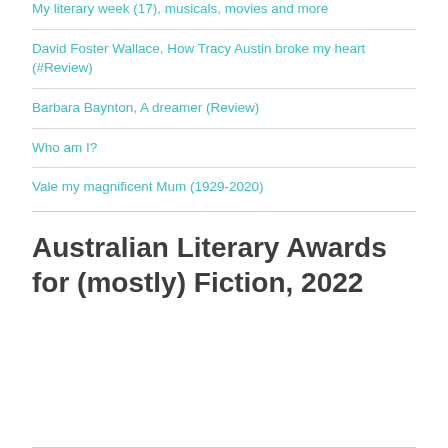My literary week (17), musicals, movies and more
David Foster Wallace, How Tracy Austin broke my heart (#Review)
Barbara Baynton, A dreamer (Review)
Who am I?
Vale my magnificent Mum (1929-2020)
Australian Literary Awards for (mostly) Fiction, 2022